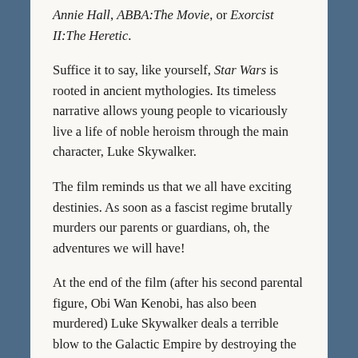Annie Hall, ABBA:The Movie, or Exorcist II:The Heretic.
Suffice it to say, like yourself, Star Wars is rooted in ancient mythologies. Its timeless narrative allows young people to vicariously live a life of noble heroism through the main character, Luke Skywalker.
The film reminds us that we all have exciting destinies. As soon as a fascist regime brutally murders our parents or guardians, oh, the adventures we will have!
At the end of the film (after his second parental figure, Obi Wan Kenobi, has also been murdered) Luke Skywalker deals a terrible blow to the Galactic Empire by destroying the aforementioned space